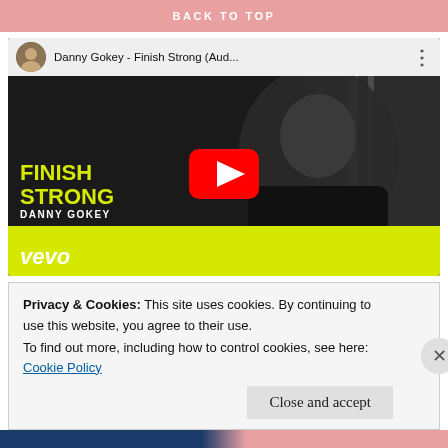BACK TO TOP
[Figure (screenshot): YouTube video embed for Danny Gokey - Finish Strong (Aud...) with red play button, showing album art with yellow 'FINISH STRONG / DANNY GOKEY' text and Vevo logo at bottom]
“Fight the good fight, even when the fight ain’t fair. Keep your hopes high, even when the
Privacy & Cookies: This site uses cookies. By continuing to use this website, you agree to their use.
To find out more, including how to control cookies, see here: Cookie Policy
Close and accept